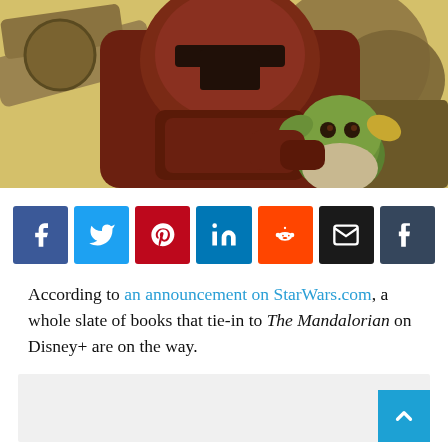[Figure (illustration): Illustration of a Mandalorian armored figure in brown/red beskar armor holding a small green alien character (Grogu/Baby Yoda), set against a sci-fi background with spacecraft and structures in warm yellow/tan tones.]
[Figure (infographic): Social sharing buttons row: Facebook (blue), Twitter (cyan), Pinterest (red), LinkedIn (blue), Reddit (orange-red), Email (black), Tumblr (dark blue-gray)]
According to an announcement on StarWars.com, a whole slate of books that tie-in to The Mandalorian on Disney+ are on the way.
[Figure (other): Advertisement placeholder box (light gray rectangle) with a back-to-top button (cyan square with upward chevron) in the bottom right corner.]